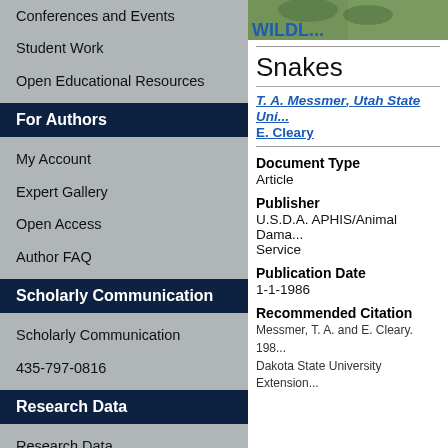Conferences and Events
Student Work
Open Educational Resources
For Authors
My Account
Expert Gallery
Open Access
Author FAQ
Scholarly Communication
Scholarly Communication
435-797-0816
Research Data
Research Data
435-797-2632
Research Data Management Services @USU
[Figure (photo): Partial photo with green foliage and WILDL... text visible]
Snakes
T. A. Messmer, Utah State Uni...
E. Cleary
Document Type
Article
Publisher
U.S.D.A. APHIS/Animal Dama... Service
Publication Date
1-1-1986
Recommended Citation
Messmer, T. A. and E. Cleary. 198...
Dakota State University Extension...